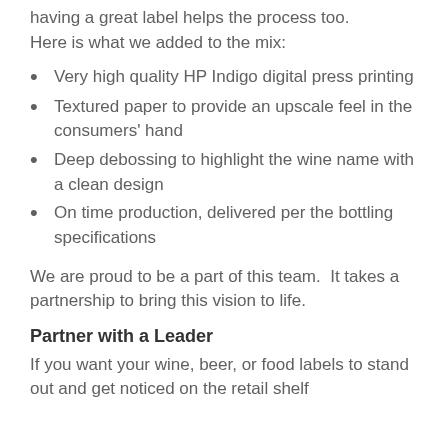having a great label helps the process too. Here is what we added to the mix:
Very high quality HP Indigo digital press printing
Textured paper to provide an upscale feel in the consumers' hand
Deep debossing to highlight the wine name with a clean design
On time production, delivered per the bottling specifications
We are proud to be a part of this team.  It takes a partnership to bring this vision to life.
Partner with a Leader
If you want your wine, beer, or food labels to stand out and get noticed on the retail shelf